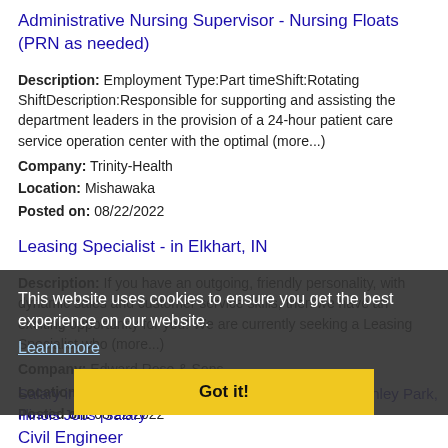Administrative Nursing Supervisor - Nursing Floats (PRN as needed)
Description: Employment Type:Part timeShift:Rotating ShiftDescription:Responsible for supporting and assisting the department leaders in the provision of a 24-hour patient care service operation center with the optimal (more...)
Company: Trinity-Health
Location: Mishawaka
Posted on: 08/22/2022
Leasing Specialist - in Elkhart, IN
Description: If you have an outgoing, friendly personality, with dynamic sales and customer service skills, then we have an exciting opportunity for you! We are currently seeking a Leasing Specialist who (more...)
Company: Edward Rose & Sons
Location: Mishawaka
Posted on: 08/22/2022
This website uses cookies to ensure you get the best experience on our website. Learn more Got it!
Salary in Tinley Park, Illinois Area | More details for Tinley Park, Illinois Jobs |Salary
Civil Engineer